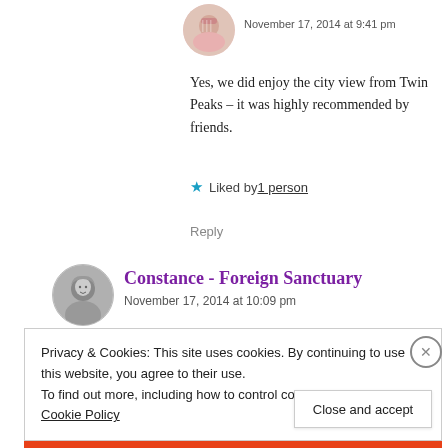[Figure (photo): Circular avatar photo of a person in pink top, partially visible at top of page]
November 17, 2014 at 9:41 pm
Yes, we did enjoy the city view from Twin Peaks – it was highly recommended by friends.
Liked by 1 person
Reply
[Figure (illustration): Circular avatar illustration of a person with gray tones]
Constance - Foreign Sanctuary
November 17, 2014 at 10:09 pm
Privacy & Cookies: This site uses cookies. By continuing to use this website, you agree to their use. To find out more, including how to control cookies, see here: Cookie Policy
Close and accept